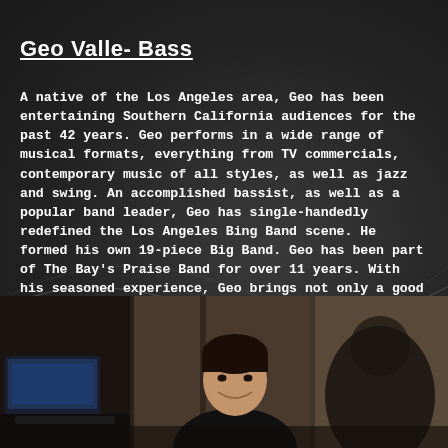Geo Valle- Bass
A native of the Los Angeles area, Geo has been entertaining Southern California audiences for the past 42 years. Geo performs in a wide range of musical formats, everything from TV commercials, contemporary music of all styles, as well as jazz and swing. An accomplished bassist, as well as a popular band leader, Geo has single-handedly redefined the Los Angeles Bing Band scene. He formed his own 19-piece Big Band. Geo has been part of The Bay's Praise Band for over 11 years. With his seasoned experience, Geo brings not only a good natured fun to any occasion but a musical experience of the highest quality.
[Figure (photo): Photo of Geo Valle standing, smiling, wearing a dark shirt, with music equipment visible on the left and another person's shadow on the right side of the image.]